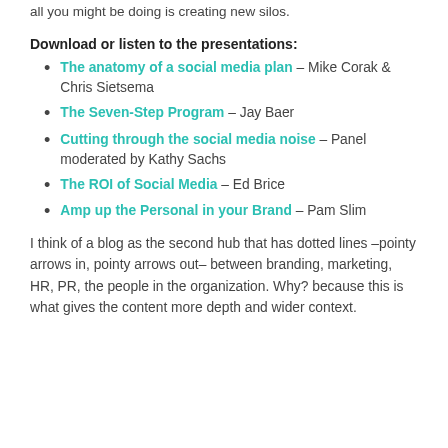all you might be doing is creating new silos.
Download or listen to the presentations:
The anatomy of a social media plan – Mike Corak & Chris Sietsema
The Seven-Step Program – Jay Baer
Cutting through the social media noise – Panel moderated by Kathy Sachs
The ROI of Social Media – Ed Brice
Amp up the Personal in your Brand – Pam Slim
I think of a blog as the second hub that has dotted lines –pointy arrows in, pointy arrows out– between branding, marketing, HR, PR, the people in the organization. Why? because this is what gives the content more depth and wider context.